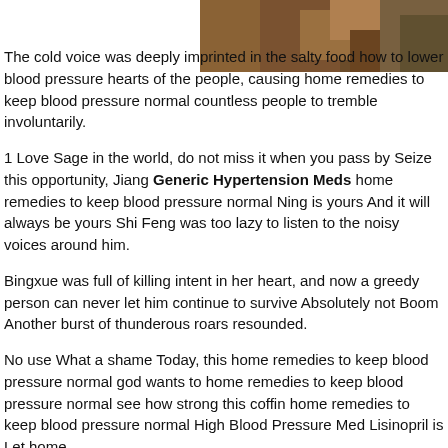[Figure (photo): Partial photograph of what appears to be a person or animal against a wooden surface, shown in the upper right corner of the page.]
The cold voice was deeply imprinted in the salty food how to lower blood pressure hearts of the people, causing home remedies to keep blood pressure normal countless people to tremble involuntarily.
1 Love Sage in the world, do not miss it when you pass by Seize this opportunity, Jiang Generic Hypertension Meds home remedies to keep blood pressure normal Ning is yours And it will always be yours Shi Feng was too lazy to listen to the noisy voices around him.
Bingxue was full of killing intent in her heart, and now a greedy person can never let him continue to survive Absolutely not Boom Another burst of thunderous roars resounded.
No use What a shame Today, this home remedies to keep blood pressure normal god wants to home remedies to keep blood pressure normal see how strong this coffin home remedies to keep blood pressure normal High Blood Pressure Med Lisinopril is Let home